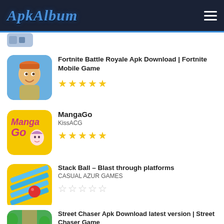ApkAlbum
Fortnite Battle Royale Apk Download | Fortnite Mobile Game, 5 stars
MangaGo, KissACG, 5 stars
Stack Ball – Blast through platforms, CASUAL AZUR GAMES, 0 stars
Street Chaser Apk Download latest version | Street Chaser Game, 5 stars